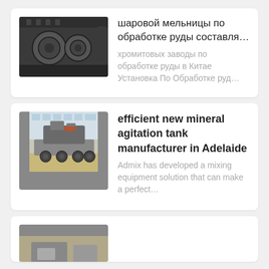[Figure (photo): Industrial ball mill machinery, dark metal equipment in factory setting]
шаровой мельницы по обработке руды составля…
хромитовых заводы по обработке руды в Китае Установка По Обработке руд…
[Figure (photo): Large mobile crushing/mining machine on a truck in an industrial warehouse]
efficient new mineral agitation tank manufacturer in Adelaide
Admix has developed a mixing equipment solution that can make a perfect…
[Figure (photo): Partial view of mining or processing equipment, partially visible at bottom of page]